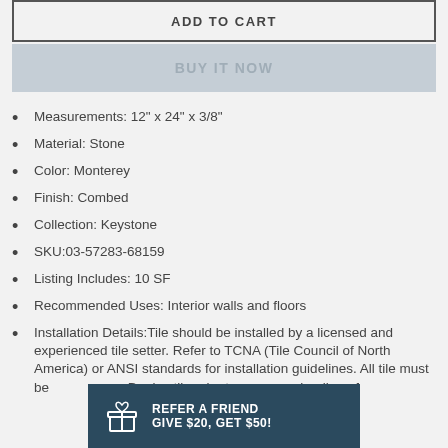ADD TO CART
BUY IT NOW
Measurements: 12" x 24" x 3/8"
Material: Stone
Color: Monterey
Finish: Combed
Collection: Keystone
SKU:03-57283-68159
Listing Includes: 10 SF
Recommended Uses: Interior walls and floors
Installation Details:Tile should be installed by a licensed and experienced tile setter. Refer to TCNA (Tile Council of North America) or ANSI standards for installation guidelines. All tile must be inspected before installation. Dry lay tile prior to installation to allow for blending of
REFER A FRIEND
GIVE $20, GET $50!